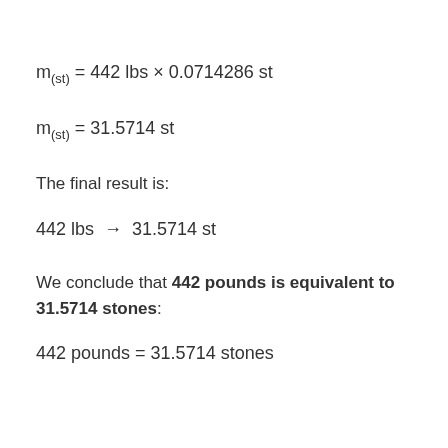The final result is:
We conclude that 442 pounds is equivalent to 31.5714 stones: